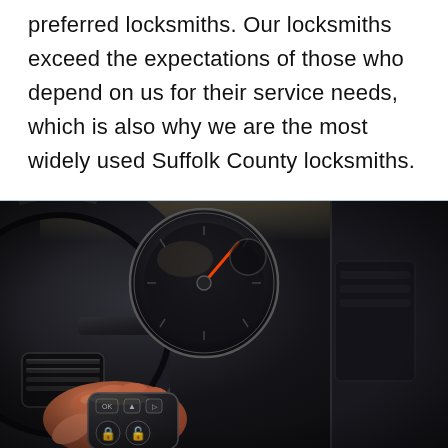preferred locksmiths. Our locksmiths exceed the expectations of those who depend on us for their service needs, which is also why we are the most widely used Suffolk County locksmiths.
[Figure (photo): Close-up interior photo of a car: a steering wheel on the left, instrument cluster with a gauge in the center, and a hand in the lower left holding a black key fob with lock/unlock buttons.]